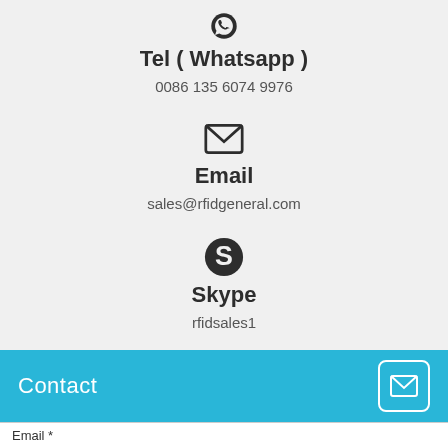[Figure (logo): WhatsApp icon (partial, top-cropped) in dark color]
Tel ( Whatsapp )
0086 135 6074 9976
[Figure (illustration): Email envelope icon in dark color]
Email
sales@rfidgeneral.com
[Figure (logo): Skype icon in dark color]
Skype
rfidsales1
Contact
Email *